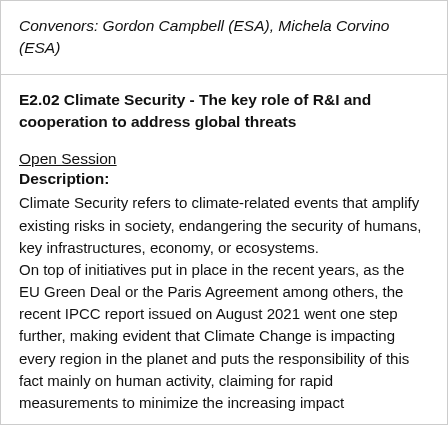Convenors: Gordon Campbell (ESA), Michela Corvino (ESA)
E2.02 Climate Security - The key role of R&I and cooperation to address global threats
Open Session
Description:
Climate Security refers to climate-related events that amplify existing risks in society, endangering the security of humans, key infrastructures, economy, or ecosystems.
On top of initiatives put in place in the recent years, as the EU Green Deal or the Paris Agreement among others, the recent IPCC report issued on August 2021 went one step further, making evident that Climate Change is impacting every region in the planet and puts the responsibility of this fact mainly on human activity, claiming for rapid measurements to minimize the increasing impact